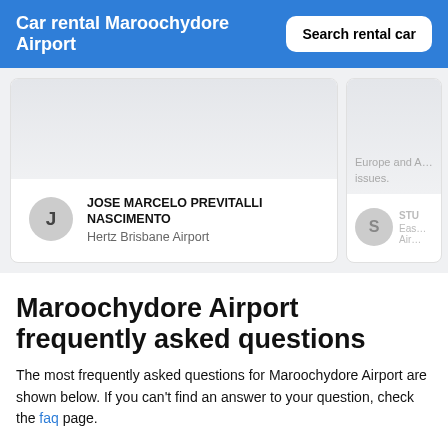Car rental Maroochydore Airport
JOSE MARCELO PREVITALLI NASCIMENTO
Hertz Brisbane Airport
Europe and A... issues.
Maroochydore Airport frequently asked questions
The most frequently asked questions for Maroochydore Airport are shown below. If you can't find an answer to your question, check the faq page.